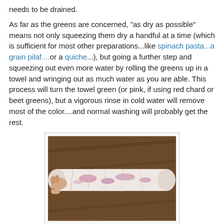needs to be drained.
As far as the greens are concerned, "as dry as possible" means not only squeezing them dry a handful at a time (which is sufficient for most other preparations...like spinach pasta...a grain pilaf....or a quiche...), but going a further step and squeezing out even more water by rolling the greens up in a towel and wringing out as much water as you are able. This process will turn the towel green (or pink, if using red chard or beet greens), but a vigorous rinse in cold water will remove most of the color....and normal washing will probably get the rest.
[Figure (photo): A photo of hands wringing out a white towel rolled up with greens inside, showing pink/purple staining from chard or beet greens, placed on a wooden surface.]